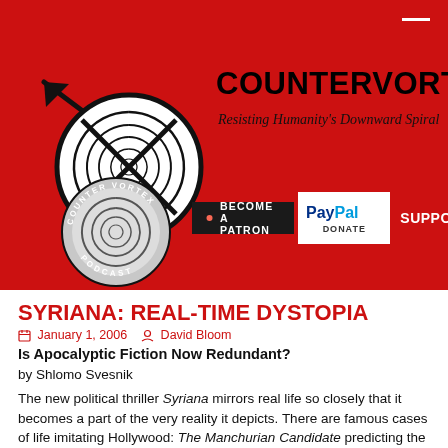[Figure (logo): CounterVortex logo: black spiral circle with arrow pointing upper-left, site title COUNTERVORTEX in bold black, subtitle Resisting Humanity's Downward Spiral in italic]
[Figure (logo): CounterVortex Podcast circular logo with spiral]
[Figure (infographic): Become a Patron button (dark background, orange dot) and PayPal Donate button, with SUPPORT US! text in white]
SYRIANA: REAL-TIME DYSTOPIA
January 1, 2006   David Bloom
Is Apocalyptic Fiction Now Redundant?
by Shlomo Svesnik
The new political thriller Syriana mirrors real life so closely that it becomes a part of the very reality it depicts. There are famous cases of life imitating Hollywood: The Manchurian Candidate predicting the JFK assassination, China Syndrome foreshadowing Three Mile Island, even Wag the Dog anticipating Monica Lewinsky and US intervention in Kosovo. But Syriana is less predictive of a near-future dystopia than reflective of an actually-existing dystopia